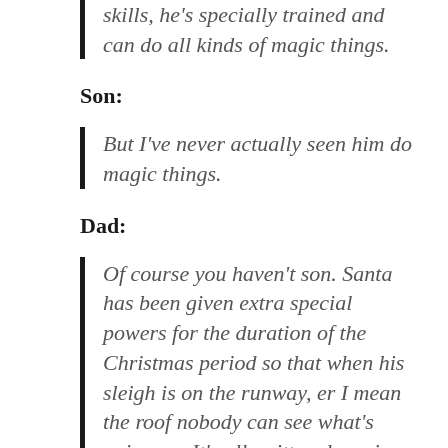skills, he's specially trained and can do all kinds of magic things.
Son:
But I've never actually seen him do magic things.
Dad:
Of course you haven't son. Santa has been given extra special powers for the duration of the Christmas period so that when his sleigh is on the runway, er I mean the roof nobody can see what's going on. It's all written down in his instructions and this has all been